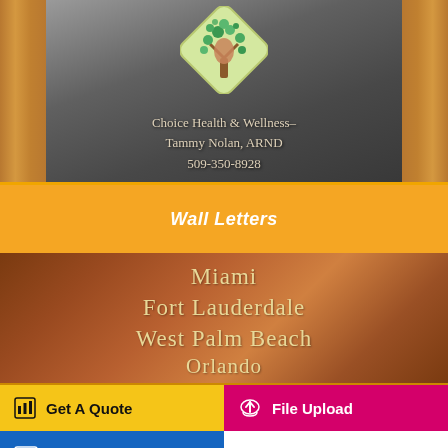[Figure (photo): Photo of a glass office door with a logo (diamond-shaped sign with a hand and tree) and text reading 'Choice Health & Wellness- Tammy Nolan, ARND 509-350-8928' on a dark reflective surface, flanked by wooden door panels]
Wall Letters
[Figure (photo): Photo of a brown wooden wall plaque with gold/cream letters listing city names: Miami, Fort Lauderdale, West Palm Beach, Orlando]
Get A Quote
File Upload
Portfolio